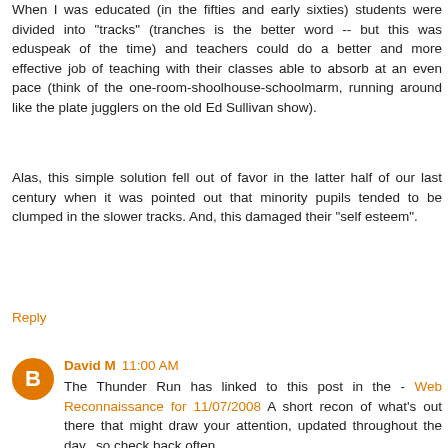When I was educated (in the fifties and early sixties) students were divided into "tracks" (tranches is the better word -- but this was eduspeak of the time) and teachers could do a better and more effective job of teaching with their classes able to absorb at an even pace (think of the one-room-shoolhouse-schoolmarm, running around like the plate jugglers on the old Ed Sullivan show).
Alas, this simple solution fell out of favor in the latter half of our last century when it was pointed out that minority pupils tended to be clumped in the slower tracks. And, this damaged their "self esteem".
Reply
David M  11:00 AM
The Thunder Run has linked to this post in the - Web Reconnaissance for 11/07/2008 A short recon of what's out there that might draw your attention, updated throughout the day...so check back often.
Reply